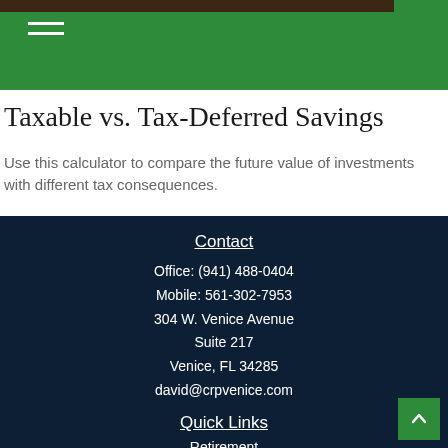Taxable vs. Tax-Deferred Savings
Use this calculator to compare the future value of investments with different tax consequences.
Contact
Office: (941) 488-0404
Mobile: 561-302-7953
304 W. Venice Avenue
Suite 217
Venice, FL 34285
david@crpvenice.com
Quick Links
Retirement